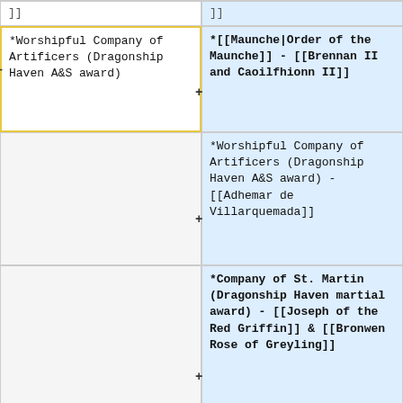]]
]]
*Worshipful Company of Artificers (Dragonship Haven A&S award)
*[[Maunche|Order of the Maunche]] - [[Brennan II and Caoilfhionn II]]
(empty left cell)
*Worshipful Company of Artificers (Dragonship Haven A&S award) - [[Adhemar de Villarquemada]]
(empty left cell)
*Company of St. Martin (Dragonship Haven martial award) - [[Joseph of the Red Griffin]] & [[Bronwen Rose of Greyling]]
*Order of the Buccelari, ([[VDK]] Service/Fighting award for a house veteran of foreign wars)
*Order of the Buccelari, ([[VDK]] Service/Fighting award for a house veteran of foreign wars)